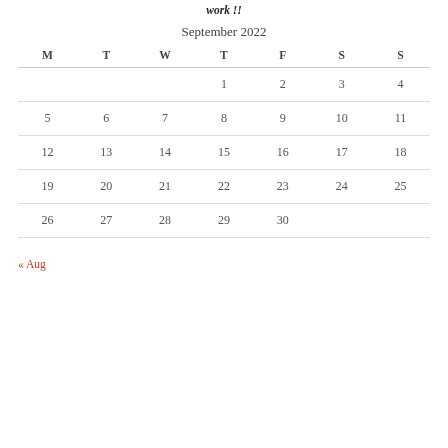work !!
| M | T | W | T | F | S | S |
| --- | --- | --- | --- | --- | --- | --- |
|  |  |  | 1 | 2 | 3 | 4 |
| 5 | 6 | 7 | 8 | 9 | 10 | 11 |
| 12 | 13 | 14 | 15 | 16 | 17 | 18 |
| 19 | 20 | 21 | 22 | 23 | 24 | 25 |
| 26 | 27 | 28 | 29 | 30 |  |  |
« Aug